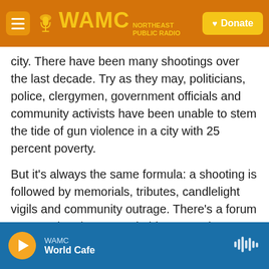[Figure (screenshot): WAMC Northeast Public Radio website header with orange background, hamburger menu button, WAMC logo with microphone icon, and yellow Donate button]
city. There have been many shootings over the last decade.  Try as they may, politicians, police, clergymen, government officials and community activists have been unable to stem the tide of gun violence in a city with 25 percent poverty.
But it's always the same formula: a shooting is followed by memorials, tributes, candlelight vigils and community outrage. There's a forum or two. Then interest subsides.   "It took me back to the time when Kathina Thomas had been shot. And the city was in outrage and everybody came together..."
[Figure (screenshot): WAMC audio player footer bar in blue, with orange play button, station name WAMC, show name World Cafe, and waveform icon on right]